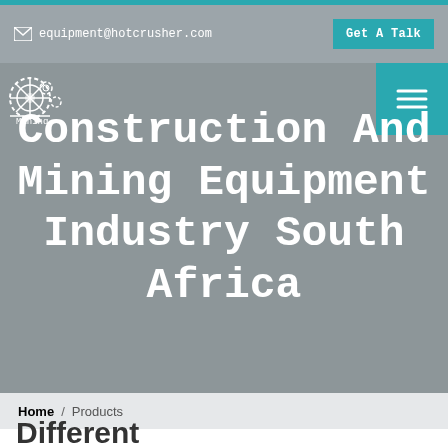equipment@hotcrusher.com  Get A Talk
Construction And Mining Equipment Industry South Africa
Home / Products
Different Machines To Meet All